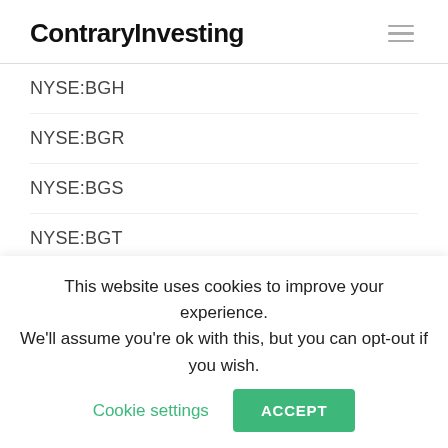ContraryInvesting
NYSE:BGH
NYSE:BGR
NYSE:BGS
NYSE:BGT
NYSE:BGX
NYSE:BGY
NYSE:BHK
NYSE:BIF
NYSE:BIG
This website uses cookies to improve your experience. We'll assume you're ok with this, but you can opt-out if you wish. Cookie settings ACCEPT